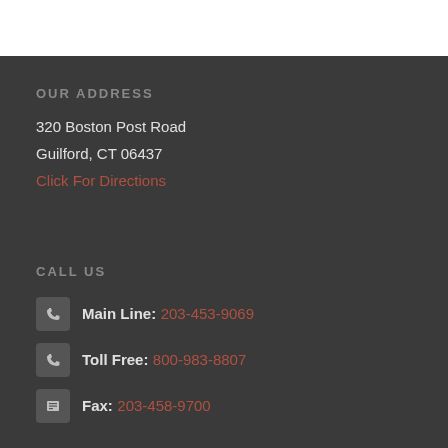OUR ADDRESS
320 Boston Post Road
Guilford, CT 06437
Click For Directions
CALL US
Main Line: 203-453-9069
Toll Free: 800-983-8807
Fax: 203-458-9700